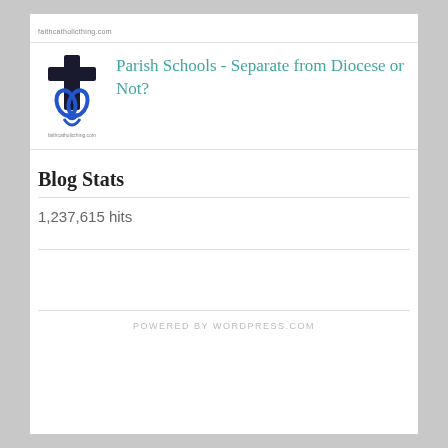faithcatholicthing.com
Parish Schools - Separate from Diocese or Not?
Blog Stats
1,237,615 hits
POWERED BY WORDPRESS.COM